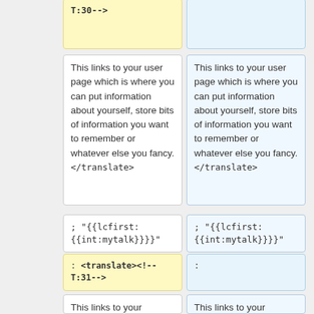T:30-->
This links to your user page which is where you can put information about yourself, store bits of information you want to remember or whatever else you fancy.
</translate>
This links to your user page which is where you can put information about yourself, store bits of information you want to remember or whatever else you fancy.
</translate>
; "{{lcfirst: {{int:mytalk}}}}"
; "{{lcfirst: {{int:mytalk}}}}"
: <translate><!--T:31-->
:
This links to your discussion page, where people
This links to your discussion page, where people